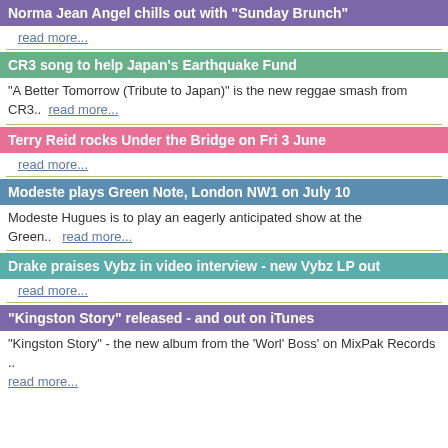Norma Jean Angel chills out with "Sunday Brunch"
read more...
CR3 song to help Japan's Earthquake Fund
"A Better Tomorrow (Tribute to Japan)" is the new reggae smash from CR3..  read more...
Terry Reid rocks Under the Bridge on Fri 3 June
read more...
Modeste plays Green Note, London NW1 on July 10
Modeste Hugues is to play an eagerly anticipated show at the Green..   read more...
Drake praises Vybz in video interview - new Vybz LP out
read more...
"Kingston Story" released - and out on iTunes
"Kingston Story" - the new album from the 'Worl' Boss' on MixPak Records .. read more...